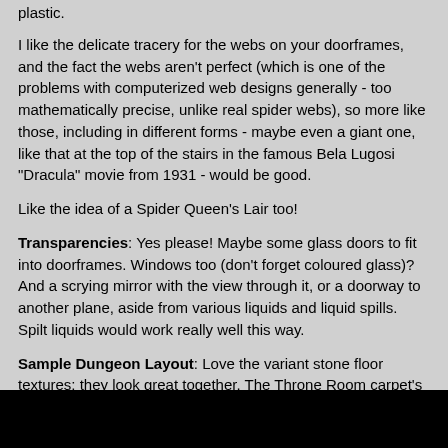plastic.
I like the delicate tracery for the webs on your doorframes, and the fact the webs aren't perfect (which is one of the problems with computerized web designs generally - too mathematically precise, unlike real spider webs), so more like those, including in different forms - maybe even a giant one, like that at the top of the stairs in the famous Bela Lugosi "Dracula" movie from 1931 - would be good.
Like the idea of a Spider Queen's Lair too!
Transparencies: Yes please! Maybe some glass doors to fit into doorframes. Windows too (don't forget coloured glass)? And a scrying mirror with the view through it, or a doorway to another plane, aside from various liquids and liquid spills. Spilt liquids would work really well this way.
Sample Dungeon Layout: Love the variant stone floor textures; they look great together. The Throne Room carpet's superb! Will the finished set have variant colour schemes for such floor coverings?
One thing though; the floor texture needs to be changeable with all the objects too - the glowing magical symbol in the topmost "blue" room and the fallen pillar in the adjoining "brown" room to its lower right have the "wrong" floor colouring/texture at present.
Have you thought about doing some matching walls as well as the